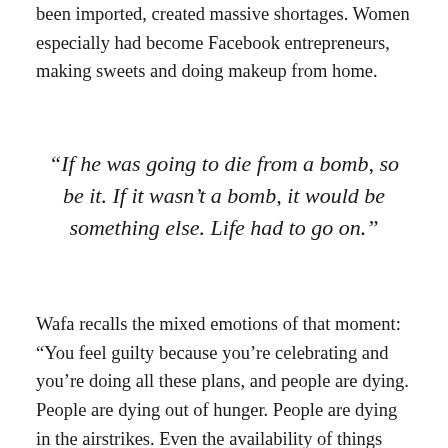been imported, created massive shortages. Women especially had become Facebook entrepreneurs, making sweets and doing makeup from home.
“If he was going to die from a bomb, so be it. If it wasn’t a bomb, it would be something else. Life had to go on.”
Wafa recalls the mixed emotions of that moment: “You feel guilty because you’re celebrating and you’re doing all these plans, and people are dying. People are dying out of hunger. People are dying in the airstrikes. Even the availability of things like who’s going to do the wedding cake. … I was telling him, should we downsize it? And he was like, ‘I loved you for five years. I’m not going to downsize my wedding and the